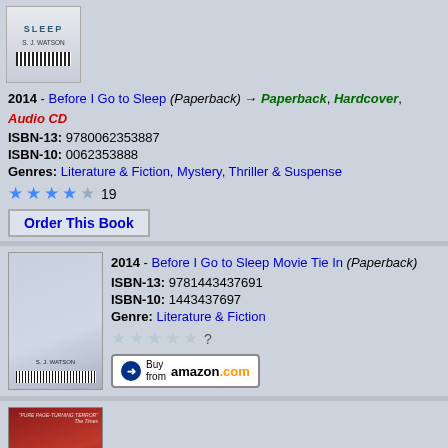[Figure (photo): Book cover for Before I Go to Sleep by S. J. Watson (Paperback, 2014)]
2014 - Before I Go to Sleep (Paperback) → Paperback, Hardcover, Audio CD
ISBN-13: 9780062353887
ISBN-10: 0062353888
Genres: Literature & Fiction, Mystery, Thriller & Suspense
★★★★☆ 19
Order This Book
[Figure (photo): Book cover for Before I Go to Sleep Movie Tie In by S. J. Watson (Paperback, 2014)]
2014 - Before I Go to Sleep Movie Tie In (Paperback)
ISBN-13: 9781443437691
ISBN-10: 1443437697
Genre: Literature & Fiction
☆☆☆☆☆ ?
Buy from amazon.com
[Figure (photo): Book cover for Before I Go to Sleep (another edition), red cover design]